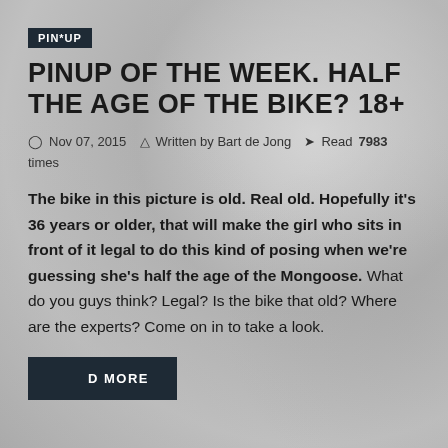PIN*UP
PINUP OF THE WEEK. HALF THE AGE OF THE BIKE? 18+
Nov 07, 2015   Written by Bart de Jong   Read 7983 times
The bike in this picture is old. Real old. Hopefully it's 36 years or older, that will make the girl who sits in front of it legal to do this kind of posing when we're guessing she's half the age of the Mongoose. What do you guys think? Legal? Is the bike that old? Where are the experts? Come on in to take a look.
READ MORE